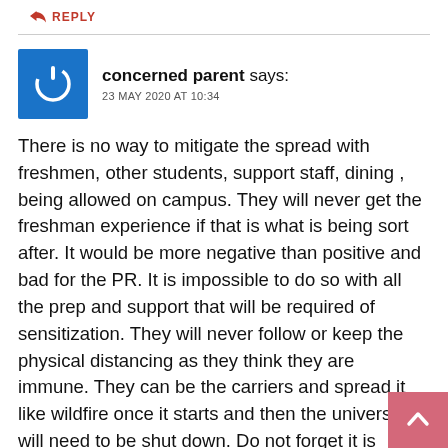← REPLY
[Figure (illustration): Blue square avatar with white power button/restart icon]
concerned parent says:
23 MAY 2020 AT 10:34
There is no way to mitigate the spread with freshmen, other students, support staff, dining , being allowed on campus. They will never get the freshman experience if that is what is being sort after. It would be more negative than positive and bad for the PR. It is impossible to do so with all the prep and support that will be required of sensitization. They will never follow or keep the physical distancing as they think they are immune. They can be the carriers and spread it like wildfire once it starts and then the university will need to be shut down. Do not forget it is exponential.
Parent have to be very concerned of the well being of their
[Figure (illustration): Pink/mauve back-to-top arrow button in bottom right corner]